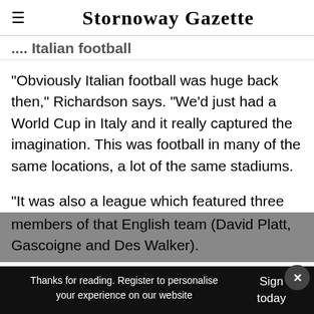≡  Stornoway Gazette
... Italian football
"Obviously Italian football was huge back then," Richardson says. "We'd just had a World Cup in Italy and it really captured the imagination. This was football in many of the same locations, a lot of the same stadiums.
"It was also a league which featured three members of that English team (David Platt, Gascoigne and Des Walker).
Thanks for reading. Register to personalise your experience on our website  Sign today ×